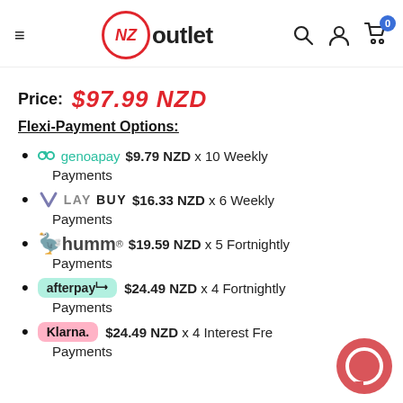NZ Outlet
Price: $97.99 NZD
Flexi-Payment Options:
genoapay $9.79 NZD x 10 Weekly Payments
LAYBUY $16.33 NZD x 6 Weekly Payments
humm $19.59 NZD x 5 Fortnightly Payments
afterpay $24.49 NZD x 4 Fortnightly Payments
Klarna. $24.49 NZD x 4 Interest Free Payments